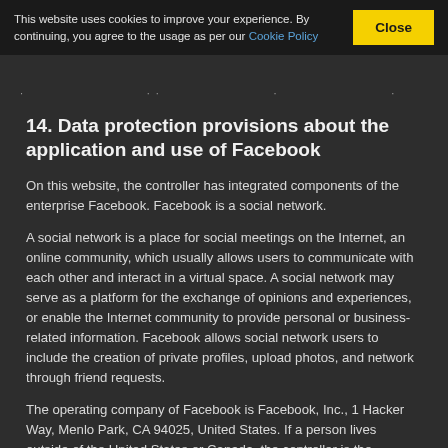This website uses cookies to improve your experience. By continuing, you agree to the usage as per our Cookie Policy  [Close]
14. Data protection provisions about the application and use of Facebook
On this website, the controller has integrated components of the enterprise Facebook. Facebook is a social network.
A social network is a place for social meetings on the Internet, an online community, which usually allows users to communicate with each other and interact in a virtual space. A social network may serve as a platform for the exchange of opinions and experiences, or enable the Internet community to provide personal or business-related information. Facebook allows social network users to include the creation of private profiles, upload photos, and network through friend requests.
The operating company of Facebook is Facebook, Inc., 1 Hacker Way, Menlo Park, CA 94025, United States. If a person lives outside of the United States or Canada, the controller is the Facebook Ireland Ltd., 4 Grand Canal Square, Grand Canal Harbour, Dublin 2, Ireland.